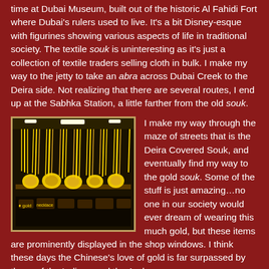time at Dubai Museum, built out of the historic Al Fahidi Fort where Dubai's rulers used to live. It's a bit Disney-esque with figurines showing various aspects of life in traditional society. The textile souk is uninteresting as it's just a collection of textile traders selling cloth in bulk. I make my way to the jetty to take an abra across Dubai Creek to the Deira side. Not realizing that there are several routes, I end up at the Sabhka Station, a little farther from the old souk.
[Figure (photo): Photo of a gold souk shop display showing many elaborate gold necklaces and jewelry pieces hanging and arranged on display.]
I make my way through the maze of streets that is the Deira Covered Souk, and eventually find my way to the gold souk. Some of the stuff is just amazing…no one in our society would ever dream of wearing this much gold, but these items are prominently displayed in the shop windows. I think these days the Chinese's love of gold is far surpassed by those of the Indians and the Arabs.
[Figure (photo): Photo of a spice souk showing various spices and goods on display.]
I find the spice souk just a